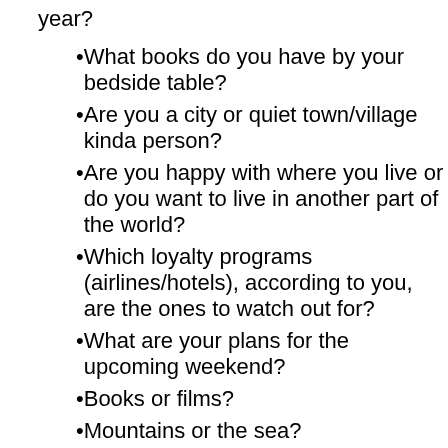year?
What books do you have by your bedside table?
Are you a city or quiet town/village kinda person?
Are you happy with where you live or do you want to live in another part of the world?
Which loyalty programs (airlines/hotels), according to you, are the ones to watch out for?
What are your plans for the upcoming weekend?
Books or films?
Mountains or the sea?
Your favourite buy from the last three